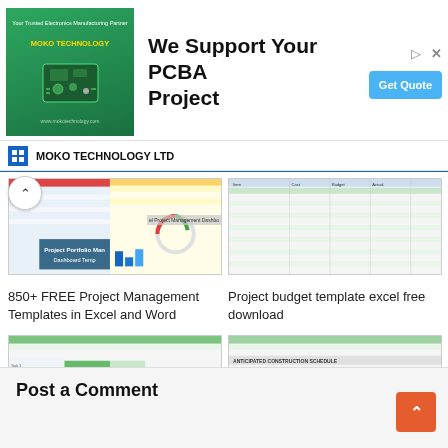[Figure (infographic): MOKO Technology ad banner with PCB image, 'We Support Your PCBA Project' headline, and Get Quote button]
[Figure (screenshot): 850+ FREE Project Management Templates in Excel and Word - spreadsheet thumbnail]
850+ FREE Project Management Templates in Excel and Word
[Figure (screenshot): Project budget template excel free download - spreadsheet thumbnail]
Project budget template excel free download
[Figure (screenshot): Work plan template excel free download - Gantt chart thumbnail]
Work plan template excel free download
[Figure (screenshot): Construction schedule example excel free download - schedule thumbnail]
Construction schedule example excel free download
Post a Comment